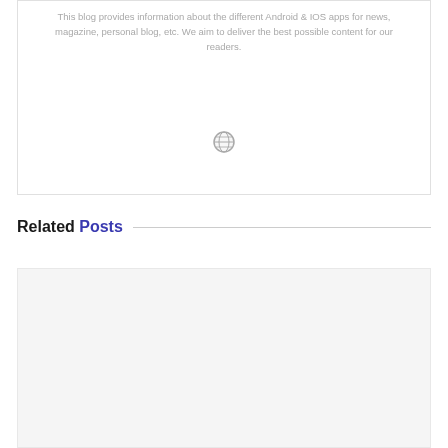This blog provides information about the different Android & IOS apps for news, magazine, personal blog, etc. We aim to deliver the best possible content for our readers.
[Figure (illustration): Small globe/world icon in gray]
Related Posts
[Figure (photo): Light gray placeholder image box for a related post]